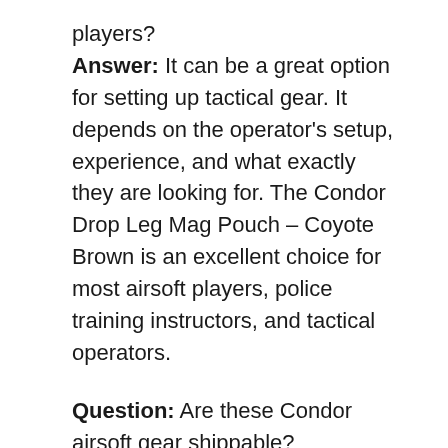players? Answer: It can be a great option for setting up tactical gear. It depends on the operator's setup, experience, and what exactly they are looking for. The Condor Drop Leg Mag Pouch – Coyote Brown is an excellent choice for most airsoft players, police training instructors, and tactical operators.
Question: Are these Condor airsoft gear shippable? Answer: Lots of manufacturers ship within the U.S. View the Condor Drop Leg Mag Pouch – Coyote Brown product description for additional information.
Question: Can this gear be used with MOLLE systems and equipment?